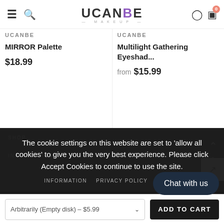UCANBE — makeup store header with hamburger menu, search, logo, user icon, and cart (0 items)
UCANBE
MIRROR Palette
$18.99
UCANBE
Multilight Gathering Eyeshad...
from $15.99
The cookie settings on this website are set to 'allow all cookies' to give you the very best experience. Please click Accept Cookies to continue to use the site.
SHOP
INFORMATION    PRIVACY POLICY    ACCEPT
Chat with us
Arbitrarily (Empty disk) – $5.99
ADD TO CART